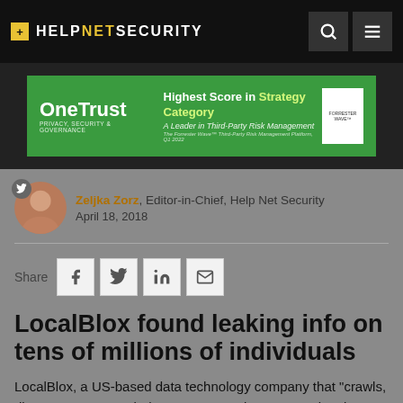HELPNETSECURITY
[Figure (other): OneTrust advertisement banner - Highest Score in Strategy Category, A Leader in Third-Party Risk Management]
Zeljka Zorz, Editor-in-Chief, Help Net Security
April 18, 2018
Share
LocalBlox found leaking info on tens of millions of individuals
LocalBlox, a US-based data technology company that "crawls, discovers, extracts, indexes, maps and augments data in a variety of formats from the web and from exchange networks" and ties it all together to create